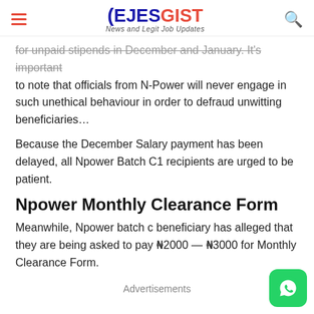EJESGIST — News and Legit Job Updates
for unpaid stipends in December and January. It's important to note that officials from N-Power will never engage in such unethical behaviour in order to defraud unwitting beneficiaries…
Because the December Salary payment has been delayed, all Npower Batch C1 recipients are urged to be patient.
Npower Monthly Clearance Form
Meanwhile, Npower batch c beneficiary has alleged that they are being asked to pay ₦2000 — ₦3000 for Monthly Clearance Form.
Advertisements